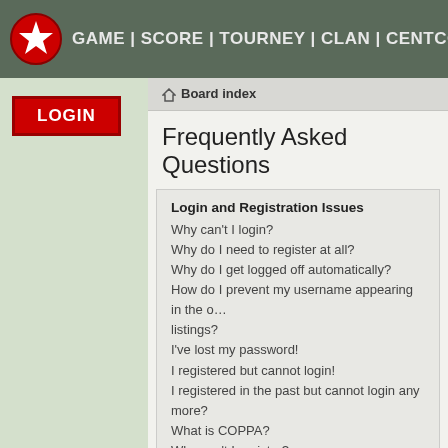GAME | SCORE | TOURNEY | CLAN | CENTCOM
[Figure (logo): Red circle with white star icon]
LOGIN
Board index
Frequently Asked Questions
Login and Registration Issues
Why can't I login?
Why do I need to register at all?
Why do I get logged off automatically?
How do I prevent my username appearing in the online listings?
I've lost my password!
I registered but cannot login!
I registered in the past but cannot login any more?
What is COPPA?
Why can't I register?
What does the "Delete all board cookies" do?
User Preferences and settings
How do I change my settings?
The times are not correct!
I changed the timezone and the time is still wrong!
My language is not in the list!
How do I show an image along with my username?
What is my rank and how do I change it?